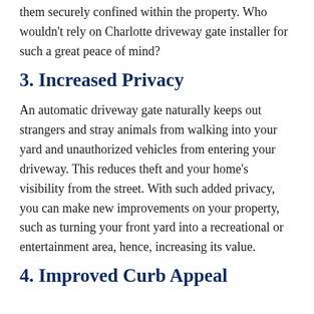them securely confined within the property. Who wouldn't rely on Charlotte driveway gate installer for such a great peace of mind?
3. Increased Privacy
An automatic driveway gate naturally keeps out strangers and stray animals from walking into your yard and unauthorized vehicles from entering your driveway. This reduces theft and your home's visibility from the street. With such added privacy, you can make new improvements on your property, such as turning your front yard into a recreational or entertainment area, hence, increasing its value.
4. Improved Curb Appeal